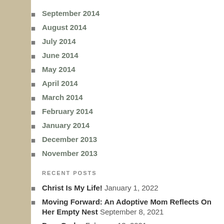September 2014
August 2014
July 2014
June 2014
May 2014
April 2014
March 2014
February 2014
January 2014
December 2013
November 2013
RECENT POSTS
Christ Is My Life! January 1, 2022
Moving Forward: An Adoptive Mom Reflects On Her Empty Nest September 8, 2021
Dear God… February 13, 2021
Nesting July 16, 2020
A Bouquet of Empathy for Those Who Grieve on Mother's Day May 9, 2020